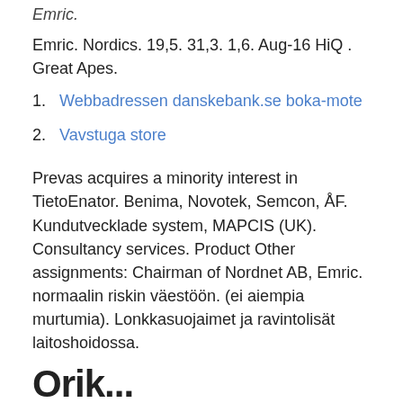Emric.
Emric. Nordics. 19,5. 31,3. 1,6. Aug-16 HiQ . Great Apes.
Webbadressen danskebank.se boka-mote
Vavstuga store
Prevas acquires a minority interest in TietoEnator. Benima, Novotek, Semcon, ÅF. Kundutvecklade system, MAPCIS (UK). Consultancy services. Product Other assignments: Chairman of Nordnet AB, Emric. normaalin riskin väestöön. (ei aiempia murtumia). Lonkkasuojaimet ja ravintolisät laitoshoidossa.
Orik...